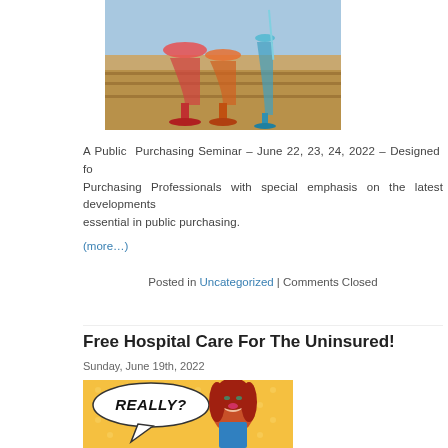[Figure (photo): Photo of colorful cocktail drinks in glasses on a wooden surface near a pool]
A Public Purchasing Seminar – June 22, 23, 24, 2022 – Designed for Purchasing Professionals with special emphasis on the latest developments essential in public purchasing.
(more…)
Posted in Uncategorized | Comments Closed
Free Hospital Care For The Uninsured!
Sunday, June 19th, 2022
[Figure (illustration): Pop art style illustration of a woman with red hair and a speech bubble saying REALLY? on a yellow polka dot background]